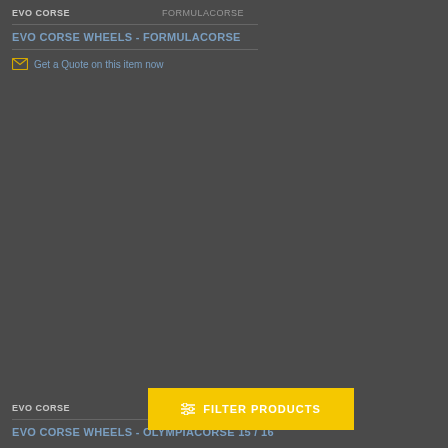EVO CORSE / FORMULACORSE
EVO CORSE WHEELS - FORMULACORSE
Get a Quote on this item now
EVO CORSE
EVO CORSE WHEELS - OLYMPIACORSE 15 / 16
FILTER PRODUCTS